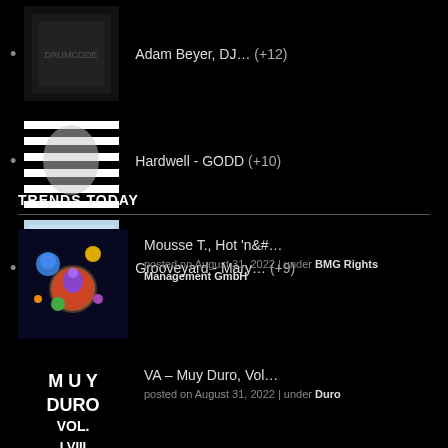Adam Beyer, DJ... (+12)
Hardwell - GODD (+10)
Grooveyard - Mary... (+9)
TRENDS TODAY
Mousse T., Hot 'n&#... posted on August 31, 2022 | under BMG Rights Management GmbH
VA – Muy Duro, Vol... posted on August 31, 2022 | under Duro
Piero Pirupa, Ben Kim 🎵... posted on August 31, 2022 | under D4 D4NCE